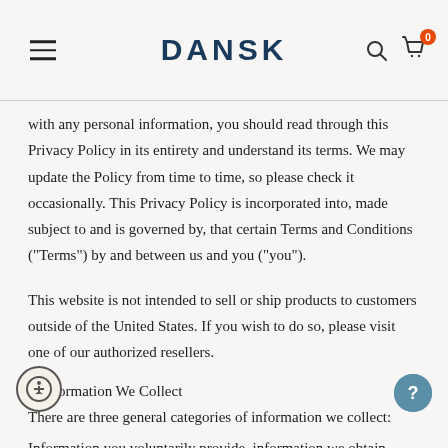DANSK
with any personal information, you should read through this Privacy Policy in its entirety and understand its terms. We may update the Policy from time to time, so please check it occasionally. This Privacy Policy is incorporated into, made subject to and is governed by, that certain Terms and Conditions ("Terms") by and between us and you ("you").
This website is not intended to sell or ship products to customers outside of the United States. If you wish to do so, please visit one of our authorized resellers.
I. Information We Collect
There are three general categories of information we collect:
Information you voluntarily provide, information we obtain when you use our website (collectively "services") and information we collect through third parties or public sources.